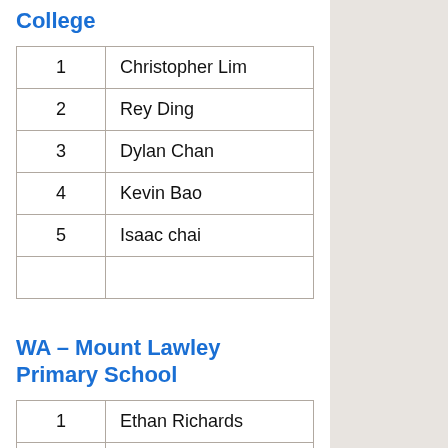College
| 1 | Christopher Lim |
| 2 | Rey Ding |
| 3 | Dylan Chan |
| 4 | Kevin Bao |
| 5 | Isaac chai |
|  |  |
WA – Mount Lawley Primary School
| 1 | Ethan Richards |
| 2 | Minh Nguyen |
| 3 | Ikor Hernandez |